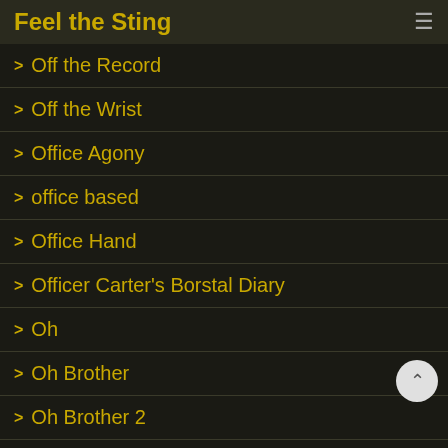Feel the Sting
Off the Record
Off the Wrist
Office Agony
office based
Office Hand
Officer Carter's Borstal Diary
Oh
Oh Brother
Oh Brother 2
Oh Brother Epilogue
Oliver Morgenson
On The Bench